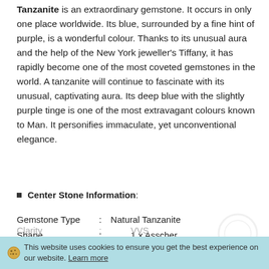Tanzanite is an extraordinary gemstone. It occurs in only one place worldwide. Its blue, surrounded by a fine hint of purple, is a wonderful colour. Thanks to its unusual aura and the help of the New York jeweller's Tiffany, it has rapidly become one of the most coveted gemstones in the world. A tanzanite will continue to fascinate with its unusual, captivating aura. Its deep blue with the slightly purple tinge is one of the most extravagant colours known to Man. It personifies immaculate, yet unconventional elegance.
Center Stone Information:
Gemstone Type : Natural Tanzanite
Shape : 1 x Asscher
Measurement : approx. 8mm
Carat : approx. 1.80CT
Colour : approx. D to E
Blue :
Clarity : VVS
This website uses cookies to ensure you get the best experience on our website. Learn more